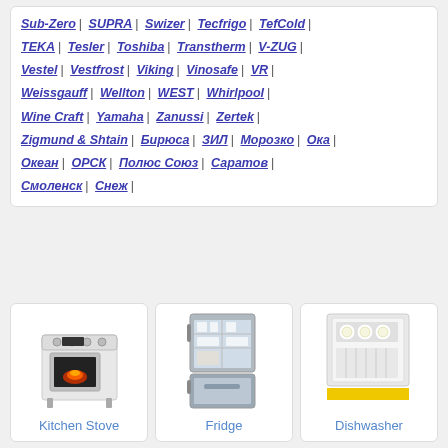Sub-Zero | SUPRA | Swizer | Tecfrigo | TefCold | TEKA | Tesler | Toshiba | Transtherm | V-ZUG | Vestel | Vestfrost | Viking | Vinosafe | VR | Weissgauff | Wellton | WEST | Whirlpool | Wine Craft | Yamaha | Zanussi | Zertek | Zigmund & Shtain | Бирюса | ЗИЛ | Морозко | Ока | Океан | ОРСК | Полюс Союз | Саратов | Смоленск | Снеж |
[Figure (photo): Kitchen stove appliance photo with label 'Kitchen Stove']
[Figure (photo): Refrigerator/fridge appliance photo with label 'Fridge']
[Figure (photo): Dishwasher appliance photo with yellow stripe and label 'Dishwasher']